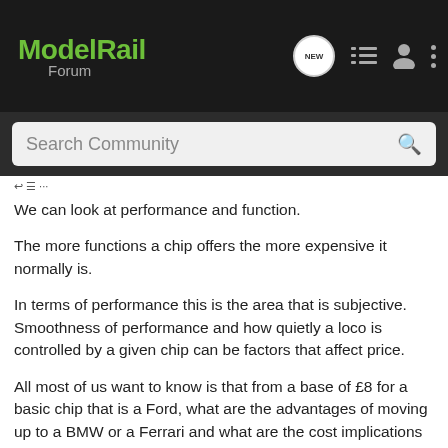Model Rail Forum
We can look at performance and function.
The more functions a chip offers the more expensive it normally is.
In terms of performance this is the area that is subjective. Smoothness of performance and how quietly a loco is controlled by a given chip can be factors that affect price.
All most of us want to know is that from a base of £8 for a basic chip that is a Ford, what are the advantages of moving up to a BMW or a Ferrari and what are the cost implications of doing this.